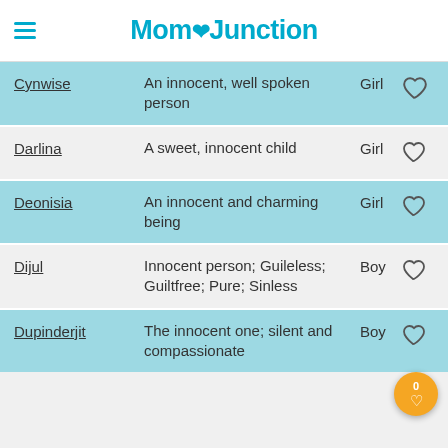MomJunction
| Name | Meaning | Gender |  |
| --- | --- | --- | --- |
| Cynwise | An innocent, well spoken person | Girl | ♡ |
| Darlina | A sweet, innocent child | Girl | ♡ |
| Deonisia | An innocent and charming being | Girl | ♡ |
| Dijul | Innocent person; Guileless; Guiltfree; Pure; Sinless | Boy | ♡ |
| Dupinderjit | The innocent one; silent and compassionate | Boy | ♡ |